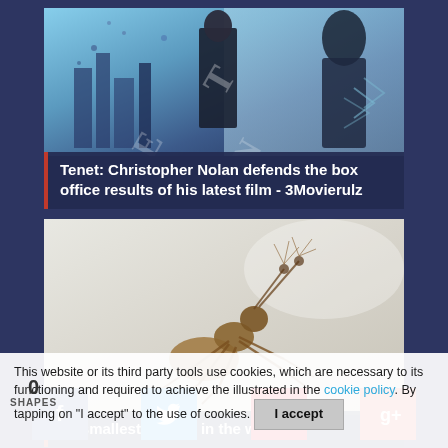[Figure (photo): Movie poster for Tenet by Christopher Nolan - man in suit with hooded figure and large stylized TENET text]
Tenet: Christopher Nolan defends the box office results of his latest film - 3Movierulz
[Figure (photo): Macro photograph of a small insect, possibly an ant, with fine hairs visible on a light grey background]
10 smallest insects in the world
This website or its third party tools use cookies, which are necessary to its functioning and required to achieve the illustrated in the cookie policy. By tapping on "I accept" to the use of cookies.